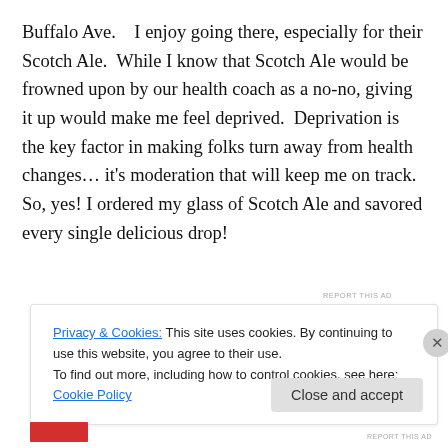Buffalo Ave.    I enjoy going there, especially for their Scotch Ale.  While I know that Scotch Ale would be frowned upon by our health coach as a no-no, giving it up would make me feel deprived.  Deprivation is the key factor in making folks turn away from health changes… it's moderation that will keep me on track.  So, yes! I ordered my glass of Scotch Ale and savored every single delicious drop!
[Figure (other): Advertisement banner strip with image thumbnail and blue bar]
Privacy & Cookies: This site uses cookies. By continuing to use this website, you agree to their use.
To find out more, including how to control cookies, see here: Cookie Policy
Close and accept